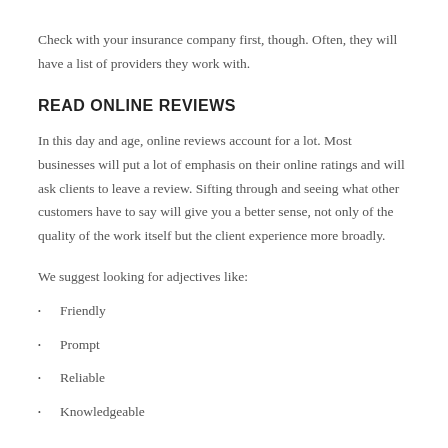Check with your insurance company first, though. Often, they will have a list of providers they work with.
READ ONLINE REVIEWS
In this day and age, online reviews account for a lot. Most businesses will put a lot of emphasis on their online ratings and will ask clients to leave a review. Sifting through and seeing what other customers have to say will give you a better sense, not only of the quality of the work itself but the client experience more broadly.
We suggest looking for adjectives like:
Friendly
Prompt
Reliable
Knowledgeable